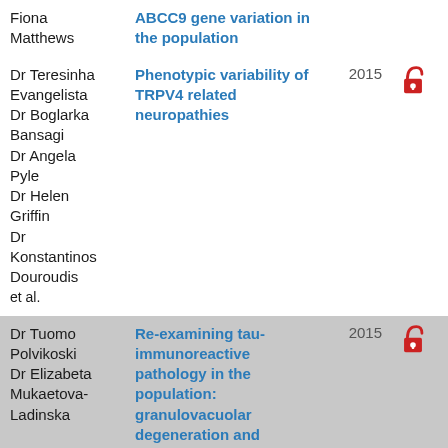| Authors | Title | Year | Open Access |
| --- | --- | --- | --- |
| Fiona Matthews | ABCC9 gene variation in the population |  |  |
| Dr Teresinha Evangelista
Dr Boglarka Bansagi
Dr Angela Pyle
Dr Helen Griffin
Dr Konstantinos Douroudis
et al. | Phenotypic variability of TRPV4 related neuropathies | 2015 | open access |
| Dr Tuomo Polvikoski
Dr Elizabeta Mukaetova-Ladinska | Re-examining tau-immunoreactive pathology in the population: granulovacuolar degeneration and | 2015 | open access |